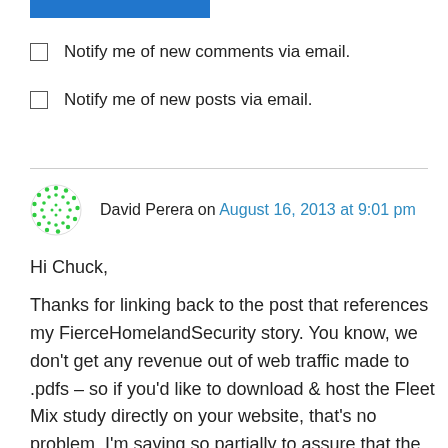[Figure (other): Blue button/bar element at top of page]
Notify me of new comments via email.
Notify me of new posts via email.
David Perera on August 16, 2013 at 9:01 pm
Hi Chuck,

Thanks for linking back to the post that references my FierceHomelandSecurity story. You know, we don't get any revenue out of web traffic made to .pdfs – so if you'd like to download & host the Fleet Mix study directly on your website, that's no problem. I'm saying so partially to assure that the study has a safe online location, since there might be changes